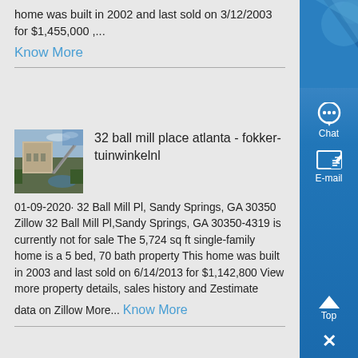home was built in 2002 and last sold on 3/12/2003 for $1,455,000 ,...
Know More
[Figure (photo): Aerial or industrial photo of a large building or facility, appears to be a mining or industrial site]
32 ball mill place atlanta - fokker-tuinwinkelnl
01-09-2020· 32 Ball Mill Pl, Sandy Springs, GA 30350 Zillow 32 Ball Mill Pl,Sandy Springs, GA 30350-4319 is currently not for sale The 5,724 sq ft single-family home is a 5 bed, 70 bath property This home was built in 2003 and last sold on 6/14/2013 for $1,142,800 View more property details, sales history and Zestimate
data on Zillow More... Know More